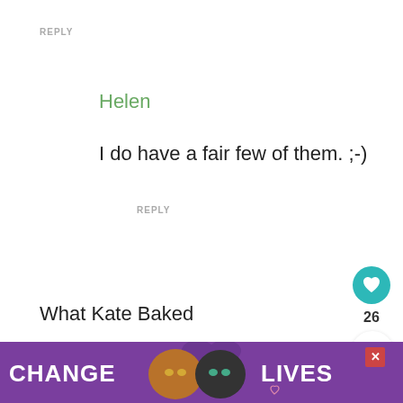REPLY
Helen
I do have a fair few of them. ;-)
REPLY
What Kate Baked
[Figure (screenshot): Social sharing buttons: heart/like button (teal circle with heart icon), count of 26, and share button]
[Figure (photo): Advertisement banner showing two cats and text CHANGE LIVES on purple background with close button]
I'